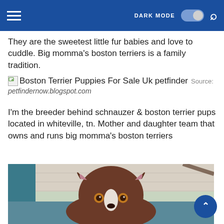DARK MODE [toggle]
They are the sweetest little fur babies and love to cuddle. Big momma's boston terriers is a family tradition.
Boston Terrier Puppies For Sale Uk petfinder  Source: petfindernow.blogspot.com
I'm the breeder behind schnauzer & boston terrier pups located in whiteville, tn. Mother and daughter team that owns and runs big momma's boston terriers
[Figure (photo): Close-up photo of a brown and white Boston Terrier puppy looking up at the camera, with large ears and amber eyes, against a teal/blue kennel background with white brick wall behind.]